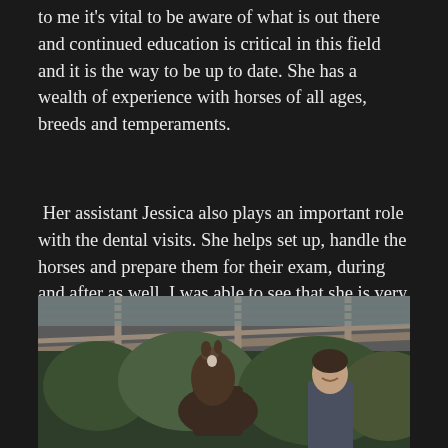to me it's vital to be aware of what is out there and continued education is critical in this field and it is the way to be up to date. She has a wealth of experience with horses of all ages, breeds and temperaments.
Her assistant Jessica also plays an important role with the dental visits. She helps set up, handle the horses and prepare them for their exam, during and after as well. I was able to see that she is very accomplished in handling horses which is an absolute must in this type of career.
[Figure (photo): A person standing with a horse inside a wooden barn/stable structure with a corrugated roof, green trees visible in the background.]